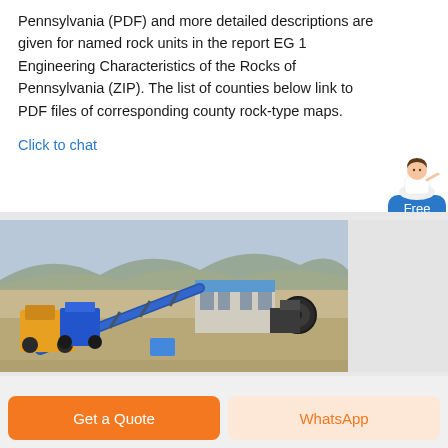Pennsylvania (PDF) and more detailed descriptions are given for named rock units in the report EG 1 Engineering Characteristics of the Rocks of Pennsylvania (ZIP). The list of counties below link to PDF files of corresponding county rock-type maps.
Click to chat
[Figure (photo): Outdoor industrial quarry/mining site with blue conveyor belts, yellow heavy machinery, a small blue-roofed building, and arid hills in the background.]
Get a Quote
WhatsApp